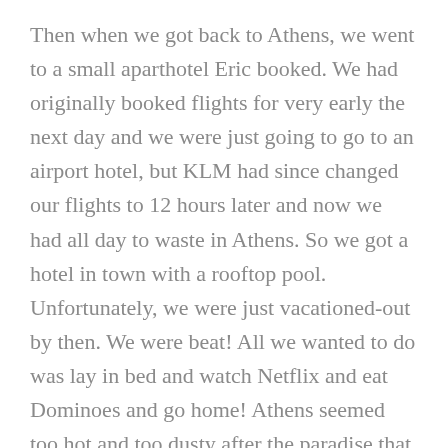Then when we got back to Athens, we went to a small aparthotel Eric booked. We had originally booked flights for very early the next day and we were just going to go to an airport hotel, but KLM had since changed our flights to 12 hours later and now we had all day to waste in Athens. So we got a hotel in town with a rooftop pool. Unfortunately, we were just vacationed-out by then. We were beat! All we wanted to do was lay in bed and watch Netflix and eat Dominoes and go home! Athens seemed too hot and too dusty after the paradise that was Naxos.